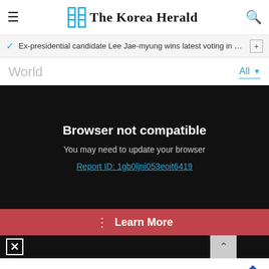The Korea Herald
Ex-presidential candidate Lee Jae-myung wins latest voting in D…
World
Browser not compatible
You may need to update your browser
Report ID: 1gb0ljni053eoit6419
⋮  Learn More
[Figure (screenshot): Bottom advertisement strip showing SweetFruits logo with Dine-in, Takeout, Delivery options and navigation arrow icon]